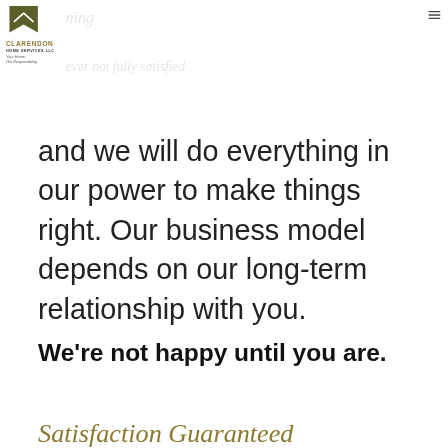[Figure (logo): Clarendon Home Services LLC logo: dark olive green bookmark/house shape icon above the company name in gold, with tagline 'Your Home, Our Responsibility.']
and we will do everything in our power to make things right. Our business model depends on our long-term relationship with you.
We're not happy until you are.
Satisfaction Guaranteed